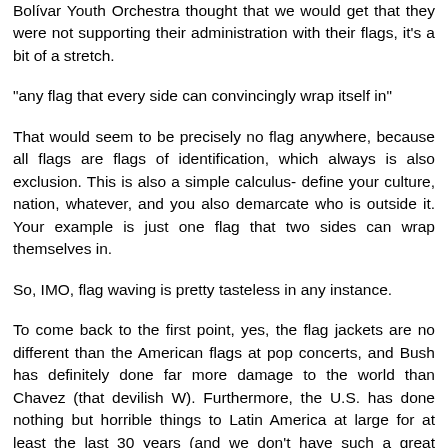Bolívar Youth Orchestra thought that we would get that they were not supporting their administration with their flags, it's a bit of a stretch.
"any flag that every side can convincingly wrap itself in"
That would seem to be precisely no flag anywhere, because all flags are flags of identification, which always is also exclusion. This is also a simple calculus- define your culture, nation, whatever, and you also demarcate who is outside it. Your example is just one flag that two sides can wrap themselves in.
So, IMO, flag waving is pretty tasteless in any instance.
To come back to the first point, yes, the flag jackets are no different than the American flags at pop concerts, and Bush has definitely done far more damage to the world than Chavez (that devilish W). Furthermore, the U.S. has done nothing but horrible things to Latin America at large for at least the last 30 years (and we don't have such a great record vis a vis human rights, etc!), so we hardly have any